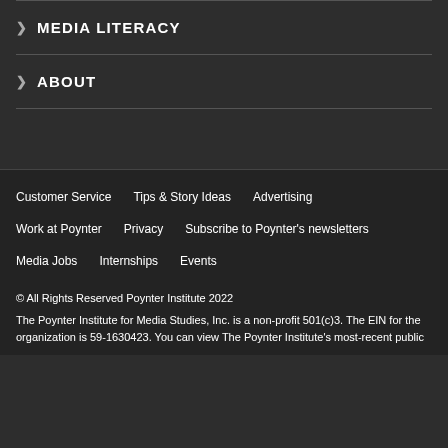MEDIA LITERACY
ABOUT
Customer Service  Tips & Story Ideas  Advertising  Work at Poynter  Privacy  Subscribe to Poynter's newsletters  Media Jobs  Internships  Events
© All Rights Reserved Poynter Institute 2022
The Poynter Institute for Media Studies, Inc. is a non-profit 501(c)3. The EIN for the organization is 59-1630423. You can view The Poynter Institute's most-recent public